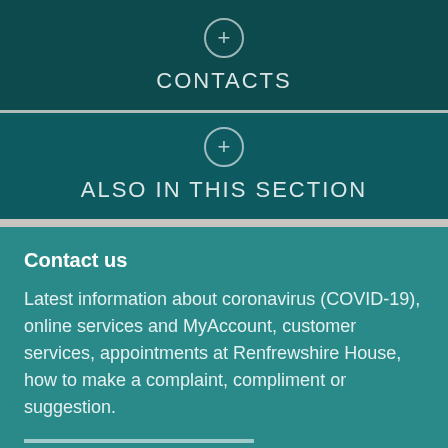CONTACTS
ALSO IN THIS SECTION
Contact us
Latest information about coronavirus (COVID-19), online services and MyAccount, customer services, appointments at Renfrewshire House, how to make a complaint, compliment or suggestion.
Website cookies enhance your user experience.
We use cookies to optimise site functionality and give you the best possible experience.